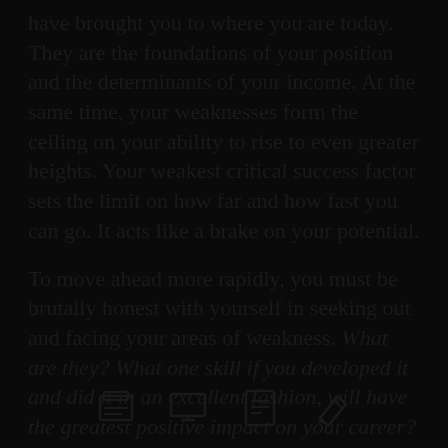have brought you to where you are today. They are the foundations of your position and the determinants of your income. At the same time, your weaknesses form the ceiling on your ability to rise to even greater heights. Your weakest critical success factor sets the limit on how far and how fast you can go. It acts like a brake on your potential.
To move ahead more rapidly, you must be brutally honest with yourself in seeking out and facing your areas of weakness. What are they? What one skill if you developed it and did it in an excellent fashion, will have the greatest positive impact on your career? Whatever the answer to this question, this is where you should begin to work on yourself.
[Figure (illustration): Four small dark icons at the bottom of the page: a printer/book icon, a display/monitor icon, a certificate/document icon, and a pencil/edit icon]